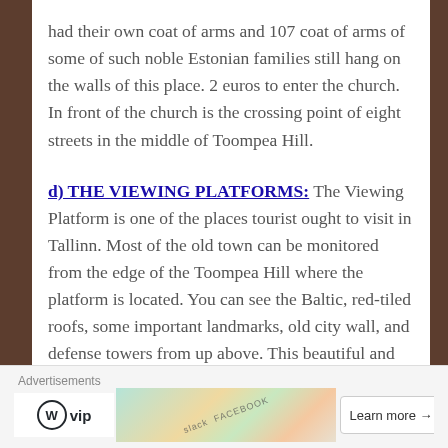had their own coat of arms and 107 coat of arms of some of such noble Estonian families still hang on the walls of this place. 2 euros to enter the church. In front of the church is the crossing point of eight streets in the middle of Toompea Hill.
d) THE VIEWING PLATFORMS: The Viewing Platform is one of the places tourist ought to visit in Tallinn. Most of the old town can be monitored from the edge of the Toompea Hill where the platform is located. You can see the Baltic, red-tiled roofs, some important landmarks, old city wall, and defense towers from up above. This beautiful and romantic place makes you wonder about the ancient time and legends lost in centuries.
Advertisements